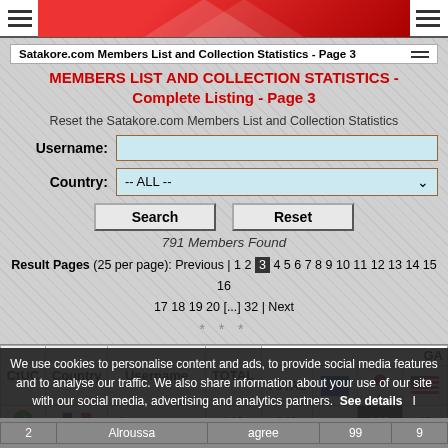Satakore.com Members List and Collection Statistics - Page 3
MEMBERS LIST AND COLLECTION STATISTICS - Complete Listing - Page 3
Reset the Satakore.com Members List and Collection Statistics
Username: [input field]
Country: -- ALL --
Search | Reset
791 Members Found
Result Pages (25 per page): Previous | 1 2 3 4 5 6 7 8 9 10 11 12 13 14 15 16 17 18 19 20 [...] 32 | Next
* * *
| CtUC | Country | Username | TOTAL | GA TOTAL | GA EU flag | GA JP flag | GA US flag |
| --- | --- | --- | --- | --- | --- | --- | --- |
| ✓ | FR | sbmuper | 149 | 148 | - | 102 | 46 |
We use cookies to personalise content and ads, to provide social media features and to analyse our traffic. We also share information about your use of our site with our social media, advertising and analytics partners. See details | I agree